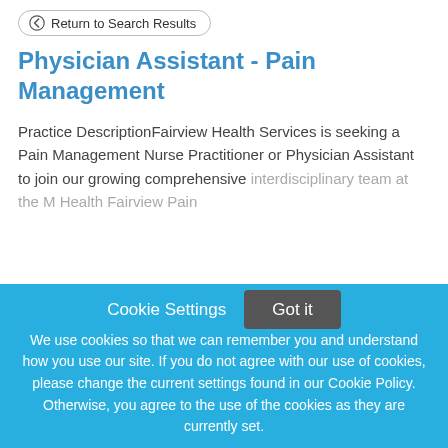Return to Search Results
Physician Assistant - Pain Management
Practice DescriptionFairview Health Services is seeking a Pain Management Nurse Practitioner or Physician Assistant to join our growing comprehensive interdisciplinary team at the M Health Fairview Pain
This job listing is no longer active.
Cookie Settings
Got it
We use cookies so that we can remember you and understand how you use our site. If you do not agree with our use of cookies, please change the current settings found in our Cookie Policy. Otherwise, you agree to the use of the cookies as they are currently set.